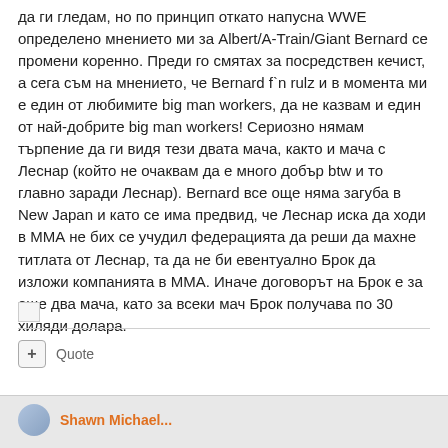да ги гледам, но по принцип откато напусна WWE определено мнението ми за Albert/A-Train/Giant Bernard се промени коренно. Преди го смятах за посредствен кечист, а сега съм на мнението, че Bernard f`n rulz и в момента ми е един от любимите big man workers, да не казвам и един от най-добрите big man workers! Сериозно нямам търпение да ги видя тези двата мача, както и мача с Леснар (който не очаквам да е много добър btw и то главно заради Леснар). Bernard все още няма загуба в New Japan и като се има предвид, че Леснар иска да ходи в ММА не бих се учудил федерацията да реши да махне титлата от Леснар, та да не би евентуално Брок да изложи компанията в ММА. Иначе договорът на Брок е за още два мача, като за всеки мач Брок получава по 30 хиляди долара.
[Figure (other): Broken image placeholder icon]
+ Quote